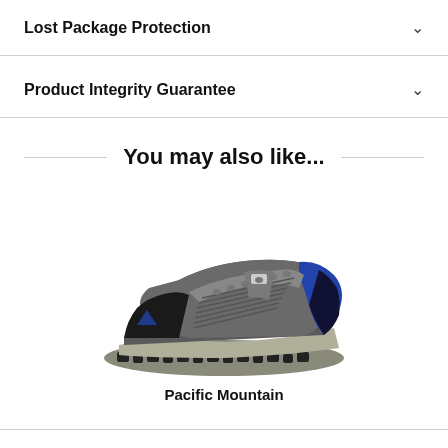Lost Package Protection
Product Integrity Guarantee
You may also like...
[Figure (photo): A gray and blue athletic hiking shoe / trail runner sneaker shown from the side on a white background.]
Pacific Mountain